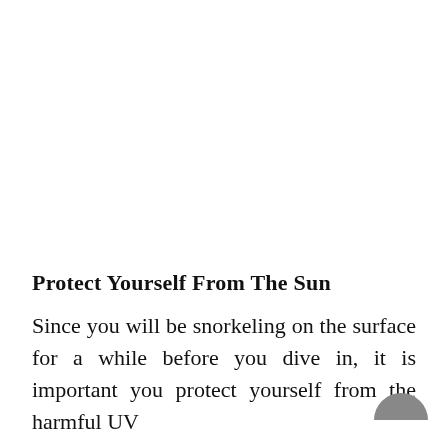Protect Yourself From The Sun
Since you will be snorkeling on the surface for a while before you dive in, it is important you protect yourself from the harmful UV